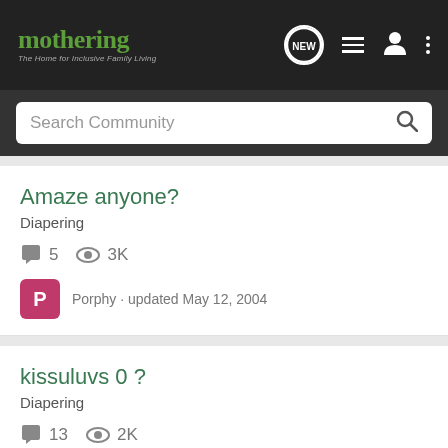mothering - The Home for Inclusive Family Living
Search Community
Amaze anyone?
Diapering
5 comments  3K views
Porphy · updated May 12, 2004
kissuluvs 0 ?
Diapering
13 comments  2K views
ccasanova · updated Mar 22, 2005